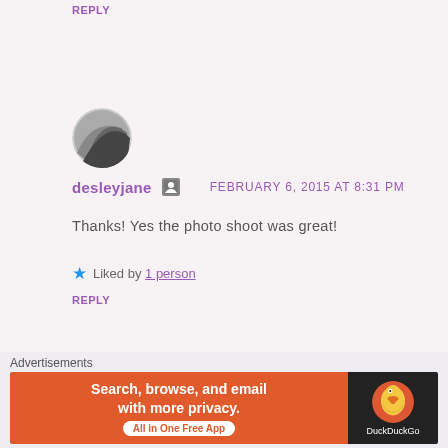REPLY
[Figure (photo): Circular avatar with black and white photo of a person]
desleyjane  FEBRUARY 6, 2015 AT 8:31 PM
Thanks! Yes the photo shoot was great!
★ Liked by 1 person
REPLY
[Figure (photo): Partial circular avatar at bottom]
Advertisements
[Figure (screenshot): DuckDuckGo advertisement banner: Search, browse, and email with more privacy. All in One Free App]